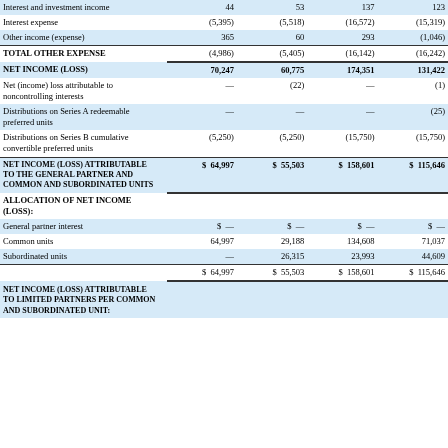|  | Col1 | Col2 | Col3 | Col4 |
| --- | --- | --- | --- | --- |
| Interest and investment income | 44 | 53 | 137 | 123 |
| Interest expense | (5,395) | (5,518) | (16,572) | (15,319) |
| Other income (expense) | 365 | 60 | 293 | (1,046) |
| TOTAL OTHER EXPENSE | (4,986) | (5,405) | (16,142) | (16,242) |
| NET INCOME (LOSS) | 70,247 | 60,775 | 174,351 | 131,422 |
| Net (income) loss attributable to noncontrolling interests | — | (22) | — | (1) |
| Distributions on Series A redeemable preferred units | — | — | — | (25) |
| Distributions on Series B cumulative convertible preferred units | (5,250) | (5,250) | (15,750) | (15,750) |
| NET INCOME (LOSS) ATTRIBUTABLE TO THE GENERAL PARTNER AND COMMON AND SUBORDINATED UNITS | $ 64,997 | $ 55,503 | $ 158,601 | $ 115,646 |
| ALLOCATION OF NET INCOME (LOSS): |  |  |  |  |
| General partner interest | $ — | $ — | $ — | $ — |
| Common units | 64,997 | 29,188 | 134,608 | 71,037 |
| Subordinated units | — | 26,315 | 23,993 | 44,609 |
|  | $ 64,997 | $ 55,503 | $ 158,601 | $ 115,646 |
| NET INCOME (LOSS) ATTRIBUTABLE TO LIMITED PARTNERS PER COMMON AND SUBORDINATED UNIT: |  |  |  |  |